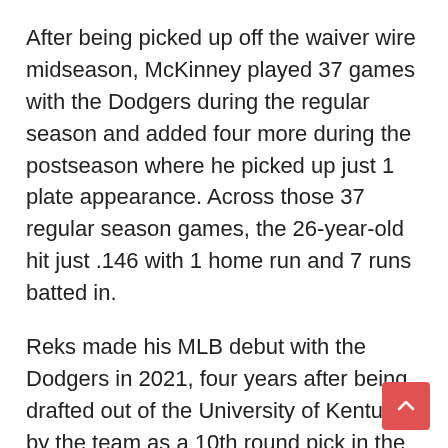After being picked up off the waiver wire midseason, McKinney played 37 games with the Dodgers during the regular season and added four more during the postseason where he picked up just 1 plate appearance. Across those 37 regular season games, the 26-year-old hit just .146 with 1 home run and 7 runs batted in.
Reks made his MLB debut with the Dodgers in 2021, four years after being drafted out of the University of Kentucky by the team as a 10th round pick in the 2017 draft. He went hitless in 10 plate appearances, striking out 7 times.
The 40-man roster is at 40 players meaning the Dodgers will have more work to do and tough